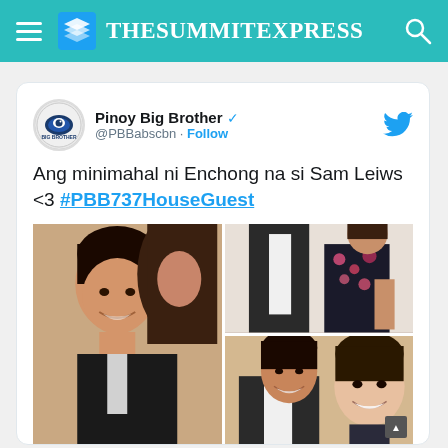TheSummitExpress
[Figure (screenshot): Embedded tweet from Pinoy Big Brother (@PBBabscbn) with text: 'Ang minimahal ni Enchong na si Sam Leiws <3 #PBB737HouseGuest' and a photo grid showing two people (a young man and woman) in multiple shots.]